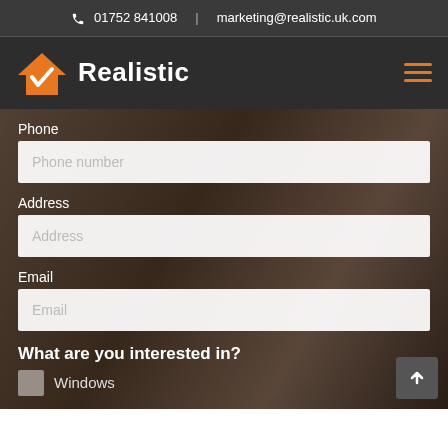📞 01752 841008  |  marketing@realistic.uk.com
Realistic
Phone
Phone number
Address
Address
Email
Email
What are you interested in?
Windows